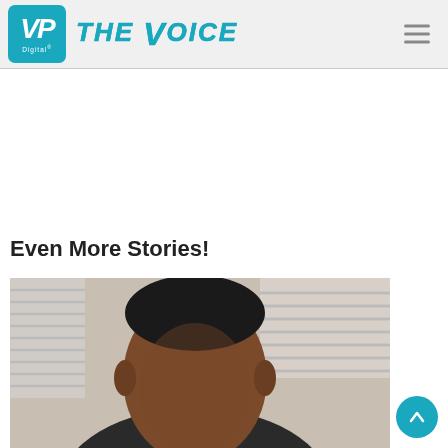VP Digital — THE VOICE
Even More Stories!
[Figure (photo): Close-up photo of a Black man's head and upper body, appearing indoors with a window with blinds visible in the background. The image is cropped to show the top of the head and shoulders.]